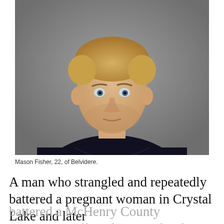[Figure (photo): Mugshot of Mason Fisher, 22, of Belvidere. Young white male with blonde hair, blue eyes, wearing a dark navy/black t-shirt, against a gray background.]
Mason Fisher, 22, of Belvidere.
A man who strangled and repeatedly battered a pregnant woman in Crystal Lake and later battered a McHenry County corrections officer last year has been sentenced to six years in prison